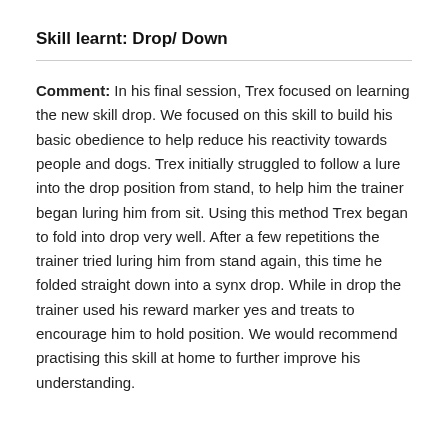Skill learnt: Drop/ Down
Comment: In his final session, Trex focused on learning the new skill drop. We focused on this skill to build his basic obedience to help reduce his reactivity towards people and dogs. Trex initially struggled to follow a lure into the drop position from stand, to help him the trainer began luring him from sit. Using this method Trex began to fold into drop very well. After a few repetitions the trainer tried luring him from stand again, this time he folded straight down into a synx drop. While in drop the trainer used his reward marker yes and treats to encourage him to hold position. We would recommend practising this skill at home to further improve his understanding.